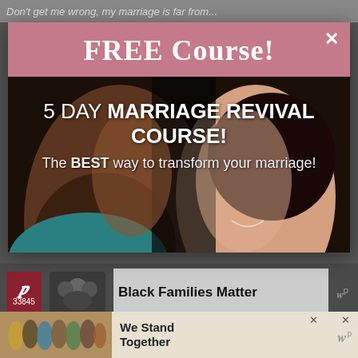Don't get me wrong, my marriage is far from...
FREE Course!
[Figure (photo): Close-up photo of a couple facing each other, man with beard wearing teal shirt, woman smiling, dark background]
5 DAY MARRIAGE REVIVAL COURSE! The BEST way to transform your marriage!
Black Families Matter
33845
Warning.
I have to warn you, before you ask, please try your
[Figure (photo): Group of diverse people standing together with arms around each other, backs to camera]
We Stand Together